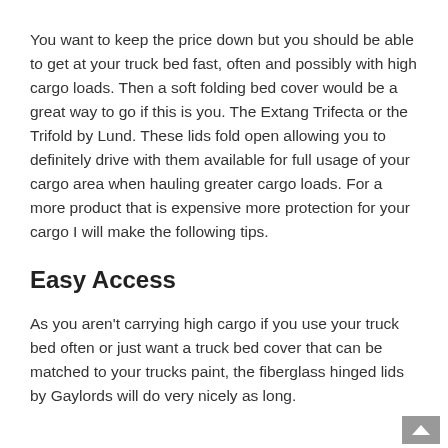You want to keep the price down but you should be able to get at your truck bed fast, often and possibly with high cargo loads. Then a soft folding bed cover would be a great way to go if this is you. The Extang Trifecta or the Trifold by Lund. These lids fold open allowing you to definitely drive with them available for full usage of your cargo area when hauling greater cargo loads. For a more product that is expensive more protection for your cargo I will make the following tips.
Easy Access
As you aren't carrying high cargo if you use your truck bed often or just want a truck bed cover that can be matched to your trucks paint, the fiberglass hinged lids by Gaylords will do very nicely as long.